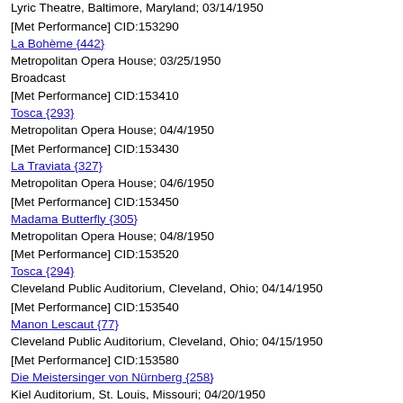Lyric Theatre, Baltimore, Maryland; 03/14/1950
[Met Performance] CID:153290
La Bohème {442}
Metropolitan Opera House; 03/25/1950
Broadcast
[Met Performance] CID:153410
Tosca {293}
Metropolitan Opera House; 04/4/1950
[Met Performance] CID:153430
La Traviata {327}
Metropolitan Opera House; 04/6/1950
[Met Performance] CID:153450
Madama Butterfly {305}
Metropolitan Opera House; 04/8/1950
[Met Performance] CID:153520
Tosca {294}
Cleveland Public Auditorium, Cleveland, Ohio; 04/14/1950
[Met Performance] CID:153540
Manon Lescaut {77}
Cleveland Public Auditorium, Cleveland, Ohio; 04/15/1950
[Met Performance] CID:153580
Die Meistersinger von Nürnberg {258}
Kiel Auditorium, St. Louis, Missouri; 04/20/1950
[Met Performance] CID:153590